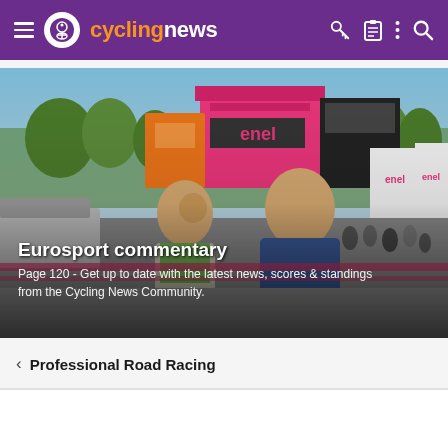cyclingnews
[Figure (photo): Two men posing together at a cycling race venue (Giro d'Italia), with sponsor banners including enel visible in the background, at an outdoor race finish area with vehicles and crowds]
Eurosport commentary
Page 120 - Get up to date with the latest news, scores & standings from the Cycling News Community.
< Professional Road Racing